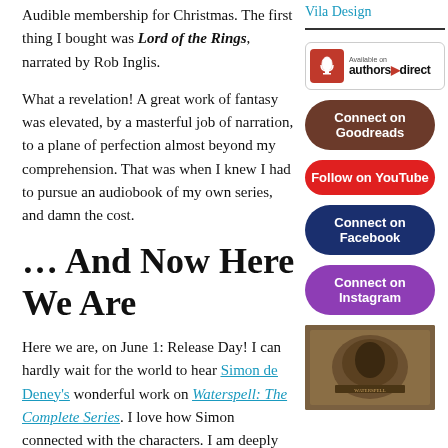Audible membership for Christmas. The first thing I bought was Lord of the Rings, narrated by Rob Inglis.
What a revelation! A great work of fantasy was elevated, by a masterful job of narration, to a plane of perfection almost beyond my comprehension. That was when I knew I had to pursue an audiobook of my own series, and damn the cost.
… And Now Here We Are
Here we are, on June 1: Release Day! I can hardly wait for the world to hear Simon de Deney's wonderful work on Waterspell: The Complete Series. I love how Simon connected with the characters. I am deeply grateful that he
Vila Design
[Figure (logo): Authors Direct logo button - red icon with microphone on left, text 'Available on authors direct' on white background with border]
[Figure (other): Connect on Goodreads brown rounded button]
[Figure (other): Follow on YouTube red rounded button]
[Figure (other): Connect on Facebook dark navy rounded button]
[Figure (other): Connect on Instagram purple rounded button]
[Figure (photo): Book cover image with brown/tan tones showing a stone or carved face]